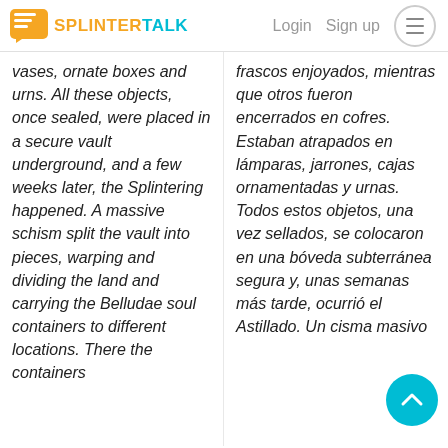SPLINTERTALK — Login  Sign up
vases, ornate boxes and urns. All these objects, once sealed, were placed in a secure vault underground, and a few weeks later, the Splintering happened. A massive schism split the vault into pieces, warping and dividing the land and carrying the Belludae soul containers to different locations. There the containers
frascos enjoyados, mientras que otros fueron encerrados en cofres. Estaban atrapados en lámparas, jarrones, cajas ornamentadas y urnas. Todos estos objetos, una vez sellados, se colocaron en una bóveda subterránea segura y, unas semanas más tarde, ocurrió el Astillado. Un cisma masivo